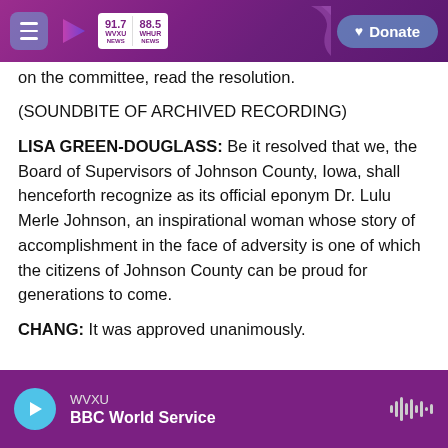WVXU 91.7 NEWS | 88.5 WHUR NEWS | Donate
on the committee, read the resolution.
(SOUNDBITE OF ARCHIVED RECORDING)
LISA GREEN-DOUGLASS: Be it resolved that we, the Board of Supervisors of Johnson County, Iowa, shall henceforth recognize as its official eponym Dr. Lulu Merle Johnson, an inspirational woman whose story of accomplishment in the face of adversity is one of which the citizens of Johnson County can be proud for generations to come.
CHANG: It was approved unanimously.
WVXU | BBC World Service